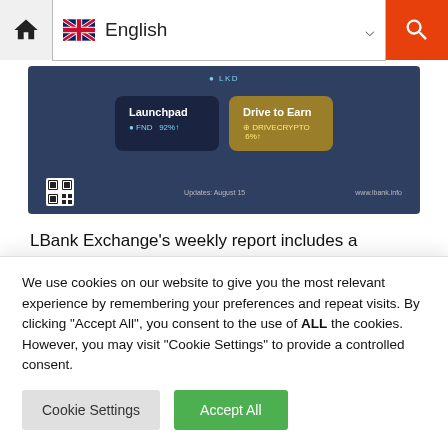[Figure (screenshot): Website navigation bar showing home icon, English language selector with UK flag and dropdown arrow, and orange search button]
[Figure (screenshot): LBank Exchange app/website screenshot showing Launchpad and Drive to Earn sections with FND 92% and DRIVECRYPTO 6% listings, QR code, and www.lbank.info URL]
LBank Exchange’s weekly report includes a summary of last week’s listings and this week’s exciting new listings. This report gives users more details to help them
We use cookies on our website to give you the most relevant experience by remembering your preferences and repeat visits. By clicking “Accept All”, you consent to the use of ALL the cookies. However, you may visit “Cookie Settings” to provide a controlled consent.